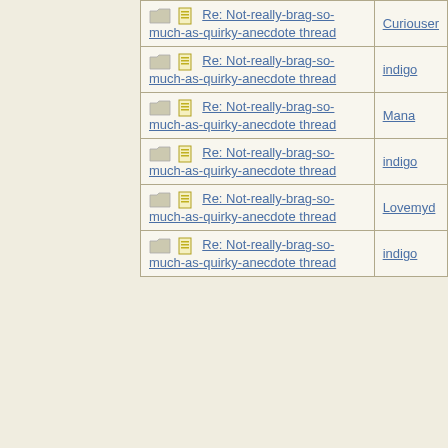| Subject | Author |
| --- | --- |
| Re: Not-really-brag-so-much-as-quirky-anecdote thread | Curiouser |
| Re: Not-really-brag-so-much-as-quirky-anecdote thread | indigo |
| Re: Not-really-brag-so-much-as-quirky-anecdote thread | Mana |
| Re: Not-really-brag-so-much-as-quirky-anecdote thread | indigo |
| Re: Not-really-brag-so-much-as-quirky-anecdote thread | Lovemyd |
| Re: Not-really-brag-so-much-as-quirky-anecdote thread | indigo |